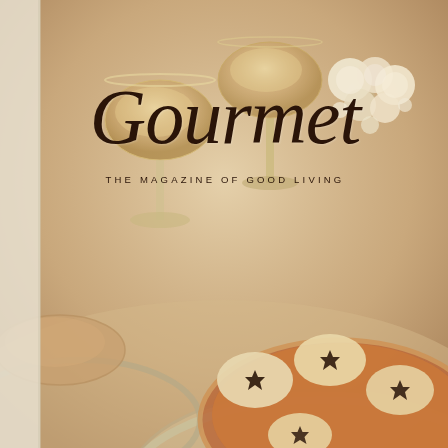[Figure (photo): Gourmet magazine cover showing an elegant table setting with crystal wine glasses containing a pale golden dessert or drink, a bouquet of white roses in the upper right, a silver decorative tray or charger plate, and in the lower portion a decorative plate with what appears to be a pastry or dessert with dark star-shaped cutouts on cream-colored pieces, all on a warm golden-tan background.]
Gourmet
THE MAGAZINE OF GOOD LIVING